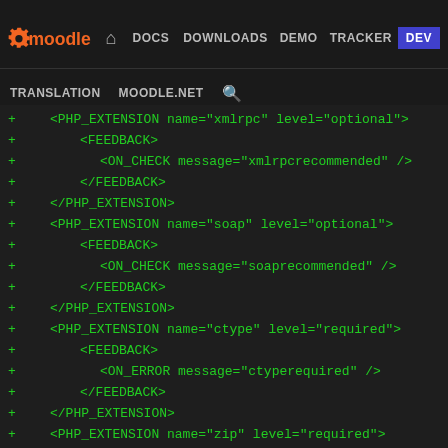Moodle | DOCS DOWNLOADS DEMO TRACKER DEV | TRANSLATION MOODLE.NET
[Figure (screenshot): Moodle developer website navigation bar with logo, nav links (DOCS, DOWNLOADS, DEMO, TRACKER, DEV highlighted in blue), and secondary nav (TRANSLATION, MOODLE.NET, search icon)]
+ <PHP_EXTENSION name="xmlrpc" level="optional">
+     <FEEDBACK>
+         <ON_CHECK message="xmlrpcrecommended" />
+     </FEEDBACK>
+     </PHP_EXTENSION>
+     <PHP_EXTENSION name="soap" level="optional">
+     <FEEDBACK>
+         <ON_CHECK message="soaprecommended" />
+     </FEEDBACK>
+     </PHP_EXTENSION>
+     <PHP_EXTENSION name="ctype" level="required">
+     <FEEDBACK>
+         <ON_ERROR message="ctyperequired" />
+     </FEEDBACK>
+     </PHP_EXTENSION>
+     <PHP_EXTENSION name="zip" level="required">
+     <FEEDBACK>
+         <ON_ERROR message="ziprequired" />
+     </FEEDBACK>
+     </PHP_EXTENSION>
+     <PHP_EXTENSION name="zlib" level="required">
+     </PHP_EXTENSION>
+     <PHP_EXTENSION name="gd" level="required">
+     <FEEDBACK>
+         <ON_ERROR message="gdrequired" />
+     </FEEDBACK>
+     </PHP_EXTENSION>